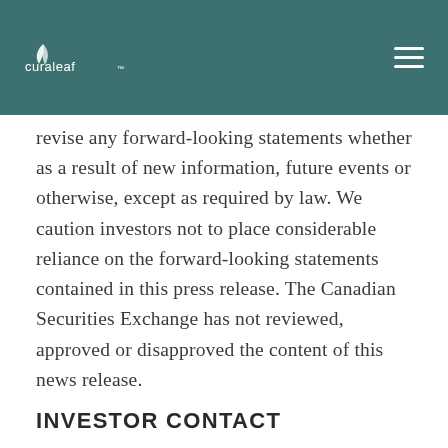Curaleaf [logo]
revise any forward-looking statements whether as a result of new information, future events or otherwise, except as required by law. We caution investors not to place considerable reliance on the forward-looking statements contained in this press release. The Canadian Securities Exchange has not reviewed, approved or disapproved the content of this news release.
INVESTOR CONTACT